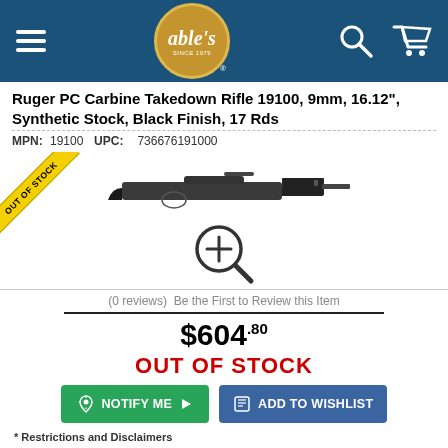Able's - Navigation header with logo, search and cart icons
Ruger PC Carbine Takedown Rifle 19100, 9mm, 16.12", Synthetic Stock, Black Finish, 17 Rds
MPN: 19100 UPC: 736676191000
[Figure (photo): Product photo of a Ruger PC Carbine Takedown Rifle in black, shown in profile view. An 'OUT OF STOCK' yellow diagonal ribbon banner overlays the top-left corner. A magnifying glass zoom icon appears below the rifle image.]
(0 reviews) Be the First to Review this Item
$604.80
OUT OF STOCK
NOTIFY ME  ADD TO WISHLIST
* Restrictions and Disclaimers
Description
Practical and versatile, the Ruger Pistol Caliber Carbine is ideal